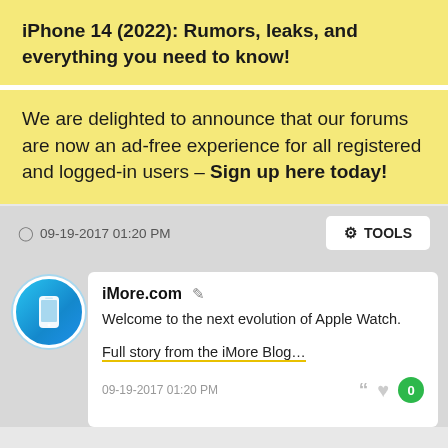iPhone 14 (2022): Rumors, leaks, and everything you need to know!
We are delighted to announce that our forums are now an ad-free experience for all registered and logged-in users - Sign up here today!
09-19-2017 01:20 PM
TOOLS
iMore.com
Welcome to the next evolution of Apple Watch.
Full story from the iMore Blog…
09-19-2017 01:20 PM
0